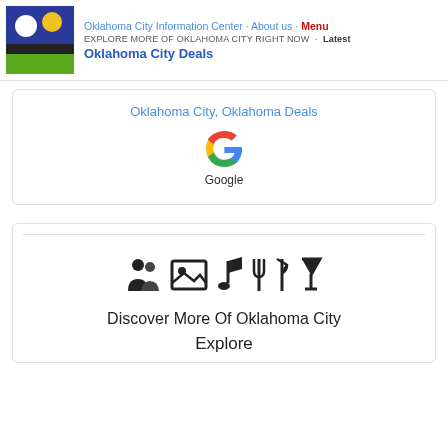Oklahoma City Information Center · About us · Menu
EXPLORE MORE OF OKLAHOMA CITY RIGHT NOW · Latest
Oklahoma City Deals
Oklahoma City, Oklahoma Deals
[Figure (logo): Google logo with colorful G icon and text 'Google']
[Figure (illustration): Row of icons: people/social, image/photo, music note, fork and knife, cocktail/drinks. Text: Discover More Of Oklahoma City]
Discover More Of Oklahoma City
Explore